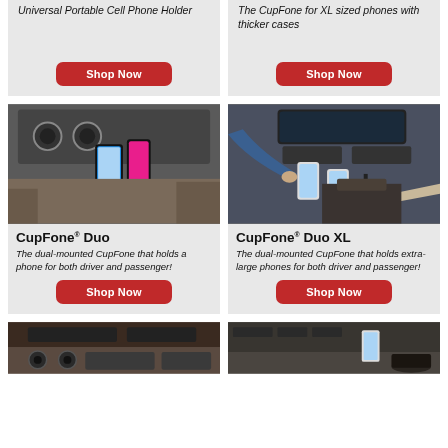Universal Portable Cell Phone Holder
The CupFone for XL sized phones with thicker cases
[Figure (photo): Car cup holder phone mount with two phones mounted]
CupFone® Duo
The dual-mounted CupFone that holds a phone for both driver and passenger!
[Figure (photo): Two people in a car using dual cup holder phone mounts]
CupFone® Duo XL
The dual-mounted CupFone that holds extra-large phones for both driver and passenger!
[Figure (photo): Car interior dashboard view]
[Figure (photo): Car interior with cup holder phone mount]